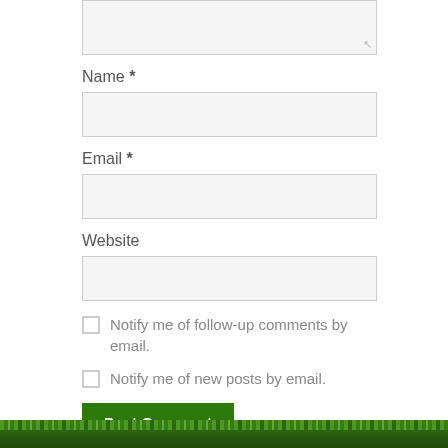[Figure (screenshot): A comment form with a textarea (partially visible at top), Name, Email, and Website text input fields, two checkboxes for notification preferences, and a green Post Comment button. A grass-textured green footer bar appears at the bottom.]
Name *
Email *
Website
Notify me of follow-up comments by email.
Notify me of new posts by email.
Post Comment